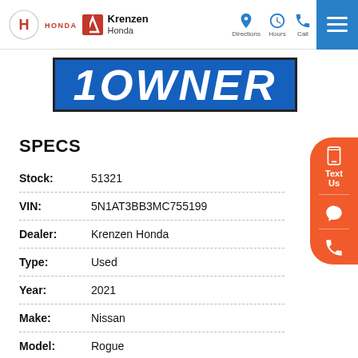[Figure (logo): Honda logo and Krenzen Honda dealer logo in page header]
Directions  Hours  Call  [Menu]
[Figure (screenshot): 1 OWNER banner text in blue with black border]
SPECS
| Field | Value |
| --- | --- |
| Stock: | 51321 |
| VIN: | 5N1AT3BB3MC755199 |
| Dealer: | Krenzen Honda |
| Type: | Used |
| Year: | 2021 |
| Make: | Nissan |
| Model: | Rogue |
| Mileage: | 18,246 |